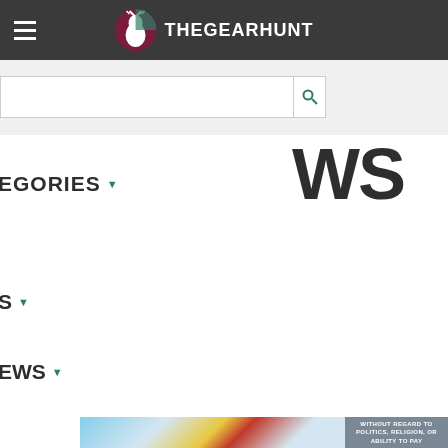THEGEARHUNT
[Figure (screenshot): Navigation menu screenshot showing TheGearHunt website with hamburger menu, logo, search bar, nav items (CATEGORIES, S, EWS), a large partial heading 'WS', and a partial photo of an airplane being loaded with cargo, with an ad overlay reading 'WITHOUT REGARD TO POLITICS, RELIGION, OR ABILITY TO PAY']